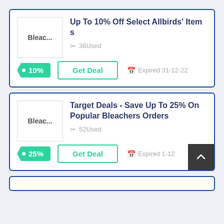Up To 10% Off Select Allbirds' Items
36Used
Get Deal
Expired 31-12-22
Target Deals - Save Up To 25% On Popular Bleachers Orders
52Used
Get Deal
Expired 1-12...